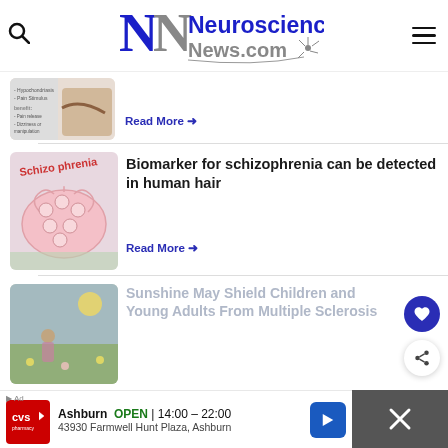[Figure (logo): Neuroscience News.com website logo with stylized N letters and neuron graphic]
[Figure (illustration): Medical illustration thumbnail showing hypochondriasis or pain-related diagram]
Read More →
[Figure (illustration): Pink brain drawing labeled Schizophrenia with circles on it]
Biomarker for schizophrenia can be detected in human hair
Read More →
[Figure (photo): Child or young person in a sunny outdoor field with flowers]
Sunshine May Shield Children and Young Adults From Multiple Sclerosis
Read More →